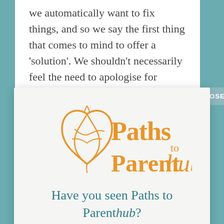we automatically want to fix things, and so we say the first thing that comes to mind to offer a 'solution'. We shouldn't necessarily feel the need to apologise for making people feel
[Figure (logo): Paths to Parenthub logo in orange/amber color with decorative intertwined leaf/heart motif]
Have you seen Paths to Parenthub?
A new platform I've created to find support, information and connection for donor conception